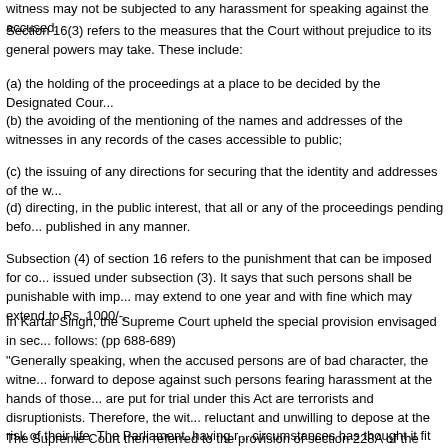witness may not be subjected to any harassment for speaking against the accused.
Section 16(3) refers to the measures that the Court without prejudice to its general powers may take. These include:
(a) the holding of the proceedings at a place to be decided by the Designated Cour...
(b) the avoiding of the mentioning of the names and addresses of the witnesses in any records of the cases accessible to public;
(c) the issuing of any directions for securing that the identity and addresses of the w...
(d) directing, in the public interest, that all or any of the proceedings pending befor... published in any manner.
Subsection (4) of section 16 refers to the punishment that can be imposed for contravening orders issued under subsection (3). It says that such persons shall be punishable with imprisonment which may extend to one year and with fine which may extend to Rs. 1000/-.
In Kartar Singh, the Supreme Court upheld the special provision envisaged in sect... follows: (pp 688-689)
"Generally speaking, when the accused persons are of bad character, the witne... forward to depose against such persons fearing harassment at the hands of those... are put for trial under this Act are terrorists and disruptionists. Therefore, the wit... reluctant and unwilling to depose at the risk of their life. The Parliament, having r... circumstances has thought it fit that the identity and addresses of the witnesses be... the above contingencies."
The Supreme Court then referred to the provision of section 228A of the Indian Pe... which states that disclosure of the identity of the 'victims' of certain offences, (sectio... 376F)...